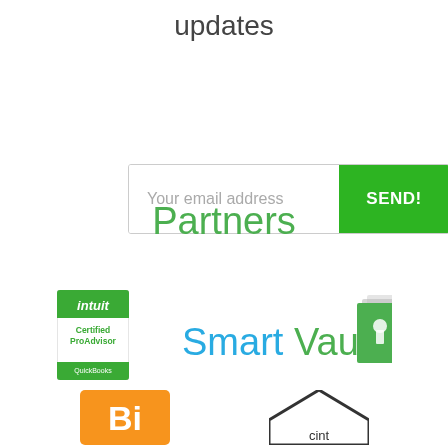updates
[Figure (screenshot): Email subscription form with text input 'Your email address' and green SEND! button]
Partners
[Figure (logo): Intuit Certified ProAdvisor QuickBooks badge logo]
[Figure (logo): SmartVault logo with document icon]
[Figure (logo): Bill.com logo (partially visible)]
[Figure (logo): Point logo (partially visible)]